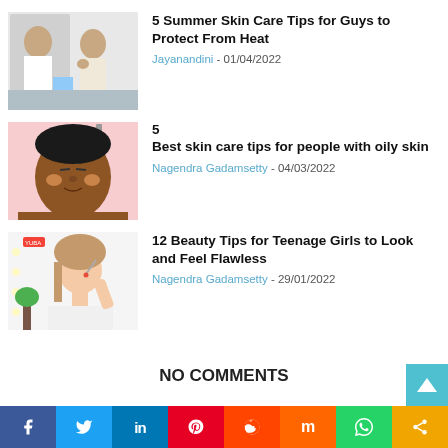[Figure (photo): Two men looking in mirror doing skincare]
5 Summer Skin Care Tips for Guys to Protect From Heat
Jayanandini - 01/04/2022
[Figure (photo): Woman with skincare product applied to face on pink background]
5 Best skin care tips for people with oily skin
Nagendra Gadamsetty - 04/03/2022
[Figure (photo): Teenage girl doing makeup in front of mirror]
12 Beauty Tips for Teenage Girls to Look and Feel Flawless
Nagendra Gadamsetty - 29/01/2022
NO COMMENTS